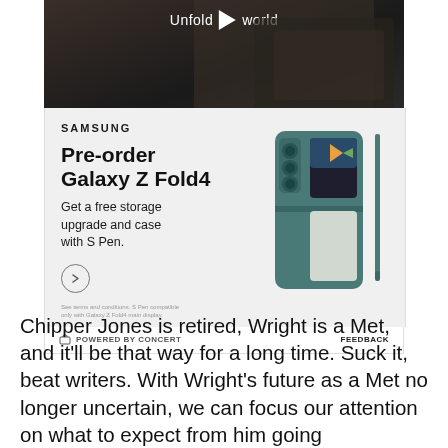[Figure (photo): Samsung advertisement for Galaxy Z Fold4 pre-order with video thumbnail showing person holding phone with text 'Unfold world', and product image showing teal Galaxy Z Fold4 with S Pen. Ad includes Samsung branding, 'Pre-order Galaxy Z Fold4', 'Get a free storage upgrade and case with S Pen.' text, and circle arrow button.]
POWERED BY CONCERT   FEEDBACK
Chipper Jones is retired, Wright is a Met, and it'll be that way for a long time. Suck it, beat writers. With Wright's future as a Met no longer uncertain, we can focus our attention on what to expect from him going